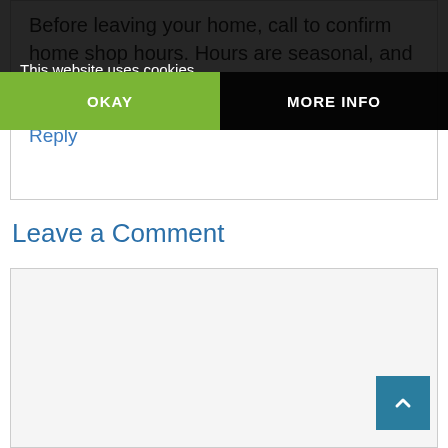Before leaving your home, call to confirm home shop hours. Hours are seasonal, and hours can change.
Reply
Leave a Comment
[Figure (screenshot): Cookie consent banner overlay with 'This website uses cookies' text, OKAY button (green) and MORE INFO button (dark)]